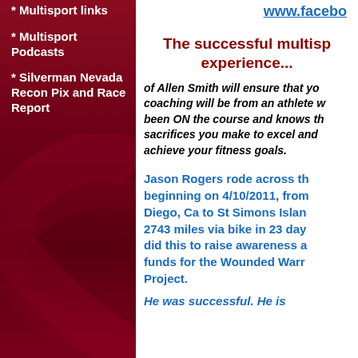* Multisport links
* Multisport Podcasts
* Silverman Nevada Recon Pix and Race Report
www.facebo
The successful multisp experience...
of Allen Smith will ensure that yo coaching will be from an athlete w been ON the course and knows th sacrifices you make to excel and achieve your fitness goals.
Jason Rogers rode across th beginning on 4/10/2011, from Diego, Ca to St Simons Islan 2743 miles via bike in 23 day did this to raise awareness a funds for the Wounded Warr Project.
He was successful. He is